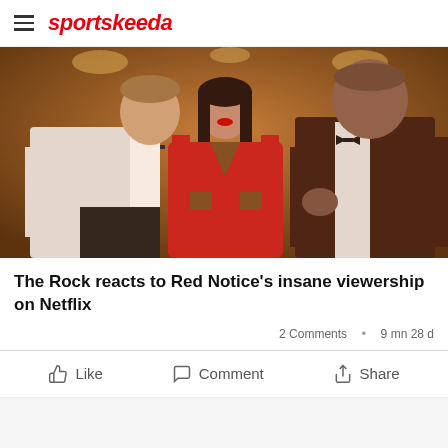sportskeeda
[Figure (photo): Movie still from Red Notice showing three actors in formal attire: a man in white tuxedo on left, a woman in red dress in center, and a large man in dark suit on right, standing in an elegant interior setting]
The Rock reacts to Red Notice's insane viewership on Netflix
2 Comments · 9 mn 28 d
Like  Comment  Share